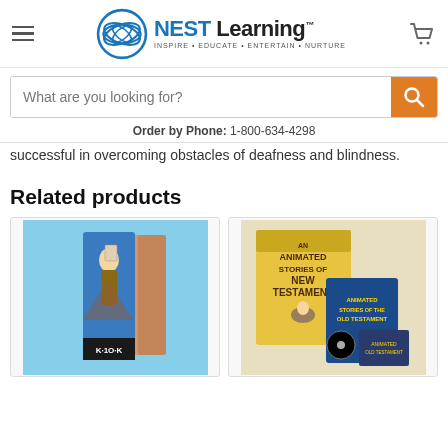[Figure (logo): NEST Learning logo with blue circular wave icon and tagline INSPIRE EDUCATE ENTERTAIN NURTURE]
[Figure (screenshot): Search bar with placeholder 'What are you looking for?' and orange search button]
Order by Phone: 1-800-634-4298
successful in overcoming obstacles of deafness and blindness.
Related products
[Figure (photo): Product image of animated Bible stories DVD set with Moses holding tablets - K·1O·K branding]
[Figure (photo): Product image showing Animated Stories of New Testament and Animated Stories of Old Testament DVD sets]